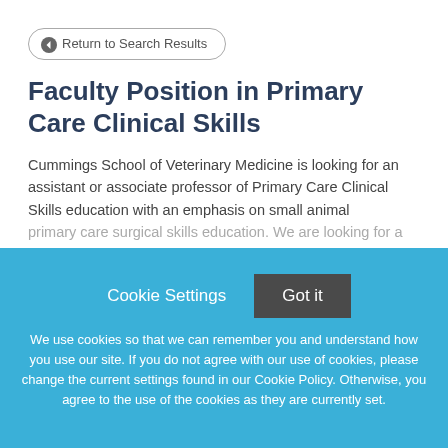← Return to Search Results
Faculty Position in Primary Care Clinical Skills
Cummings School of Veterinary Medicine is looking for an assistant or associate professor of Primary Care Clinical Skills education with an emphasis on small animal primary care surgical skills education. We are looking for a
Cookie Settings   Got it
We use cookies so that we can remember you and understand how you use our site. If you do not agree with our use of cookies, please change the current settings found in our Cookie Policy. Otherwise, you agree to the use of the cookies as they are currently set.